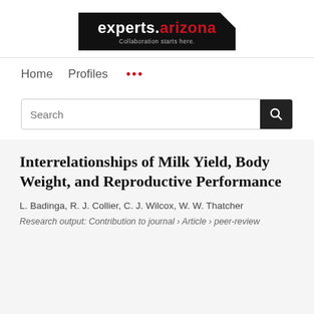[Figure (logo): experts.arizona logo — white text on black background with tagline 'Collaboration starts here.']
Home   Profiles   ...
Search
Interrelationships of Milk Yield, Body Weight, and Reproductive Performance
L. Badinga, R. J. Collier, C. J. Wilcox, W. W. Thatcher
Research output: Contribution to journal › Article › peer-review